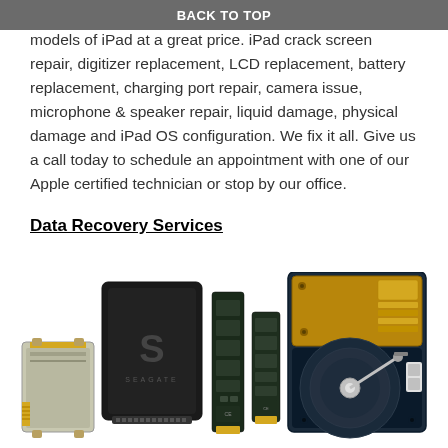BACK TO TOP
and software repair services for all models of iPad at a great price. iPad crack screen repair, digitizer replacement, LCD replacement, battery replacement, charging port repair, camera issue, microphone & speaker repair, liquid damage, physical damage and iPad OS configuration. We fix it all. Give us a call today to schedule an appointment with one of our Apple certified technician or stop by our office.
Data Recovery Services
[Figure (photo): Photo of various storage devices including SSD cards, M.2 drives, and a hard disk drive (HDD) arranged side by side]